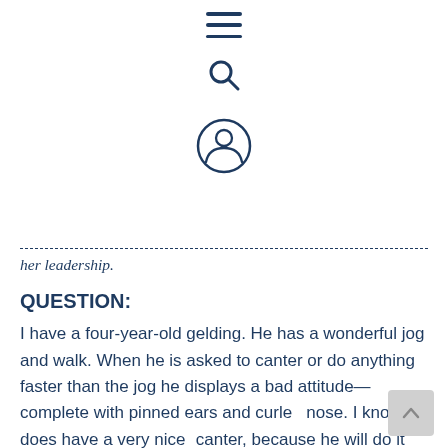[Figure (infographic): Navigation icons: hamburger menu, search magnifying glass, and user/profile circle icon, centered at top of page]
her leadership.
QUESTION:
I have a four-year-old gelding. He has a wonderful jog and walk. When he is asked to canter or do anything faster than the jog he displays a bad attitude—complete with pinned ears and curled nose. I know he does have a very nice canter, because he will do it out of the